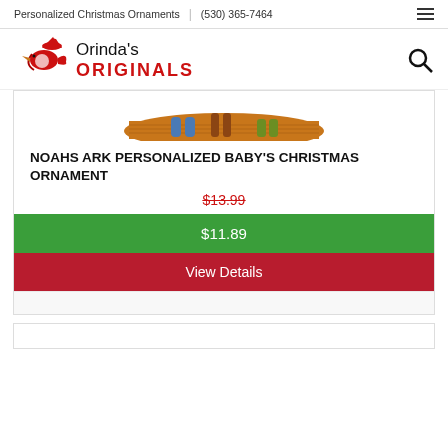Personalized Christmas Ornaments | (530) 365-7464
[Figure (logo): Orinda's Originals logo with red bird wearing Santa hat and red bold ORIGINALS text]
[Figure (photo): Partial image of Noah's Ark personalized baby's Christmas ornament showing bottom of wooden ark with animal feet]
NOAHS ARK PERSONALIZED BABY'S CHRISTMAS ORNAMENT
$13.99 (strikethrough original price)
$11.89
View Details